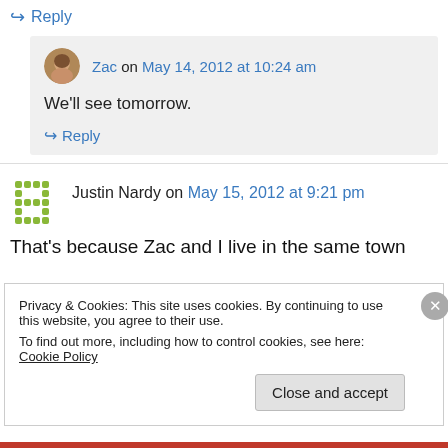↳ Reply
Zac on May 14, 2012 at 10:24 am
We'll see tomorrow.
↳ Reply
Justin Nardy on May 15, 2012 at 9:21 pm
That's because Zac and I live in the same town
Privacy & Cookies: This site uses cookies. By continuing to use this website, you agree to their use.
To find out more, including how to control cookies, see here: Cookie Policy
Close and accept